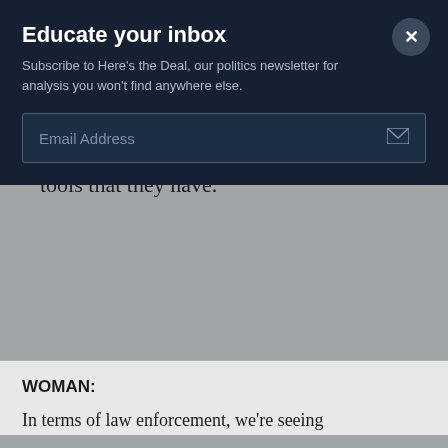Educate your inbox
Subscribe to Here's the Deal, our politics newsletter for analysis you won't find anywhere else.
the adverse effects of spanking, especially spanking gone wrong.
They want their children to be the best that they can be, but these are the only tools that they have.
WOMAN:
In terms of law enforcement, we're seeing